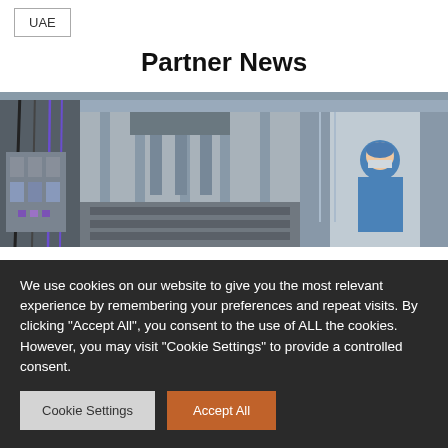UAE
Partner News
[Figure (photo): Industrial manufacturing facility with automated machinery, cables, metal frames, and a worker in blue uniform and mask in the background]
We use cookies on our website to give you the most relevant experience by remembering your preferences and repeat visits. By clicking "Accept All", you consent to the use of ALL the cookies. However, you may visit "Cookie Settings" to provide a controlled consent.
Cookie Settings
Accept All